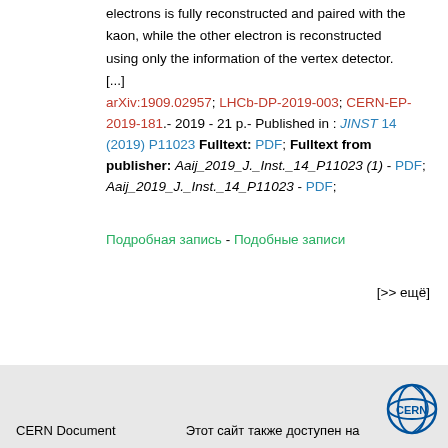electrons is fully reconstructed and paired with the kaon, while the other electron is reconstructed using only the information of the vertex detector. [...] arXiv:1909.02957; LHCb-DP-2019-003; CERN-EP-2019-181.- 2019 - 21 p.- Published in : JINST 14 (2019) P11023 Fulltext: PDF; Fulltext from publisher: Aaij_2019_J._Inst._14_P11023 (1) - PDF; Aaij_2019_J._Inst._14_P11023 - PDF;
Подробная запись - Подобные записи
[>> ещё]
CERN Document   Этот сайт также доступен на